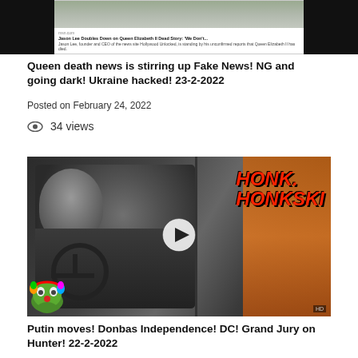[Figure (screenshot): Thumbnail strip showing black panels on left and right with a news article preview in center from msn.com about Jason Lee and Queen Elizabeth II dead story]
Queen death news is stirring up Fake News! NG and going dark! Ukraine hacked! 23-2-2022
Posted on February 24, 2022
34 views
[Figure (screenshot): Video thumbnail showing a man (resembling Putin) sitting in a truck cab driving, with 'HONK HONKSKI' text in red on the right side, a play button in the center, and a Pepe the frog clown meme in the bottom left corner]
Putin moves! Donbas Independence! DC! Grand Jury on Hunter! 22-2-2022